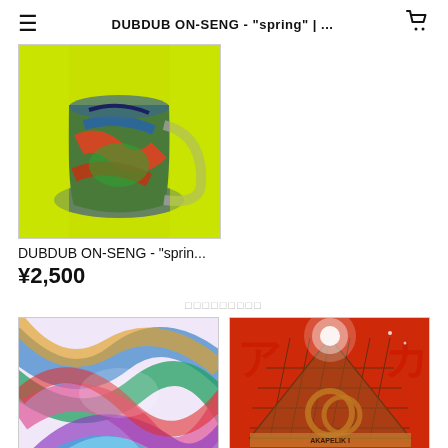DUBDUB ON-SENG - "spring" | ...
[Figure (illustration): Album art showing a colorful painted mug/pitcher on a bright yellow-green background with abstract shapes and vivid colors]
DUBDUB ON-SENG - "sprin...
¥2,500
□□□□□□□□□
[Figure (illustration): Abstract colorful artwork with swirling ribbons of color including blue, green, pink, purple, red on white background]
[Figure (illustration): Orange/red album cover with Japanese katakana characters ア and カ, featuring a pyramid-like lattice structure with glowing light and circular design element reading AKAPELIK I]